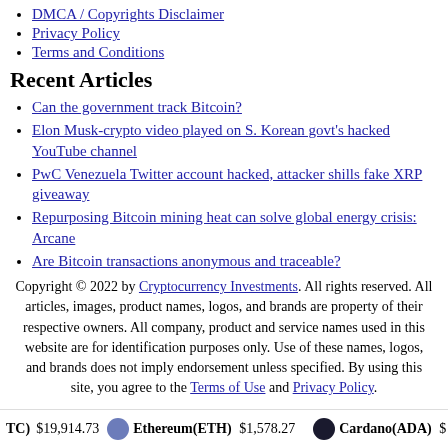DMCA / Copyrights Disclaimer
Privacy Policy
Terms and Conditions
Recent Articles
Can the government track Bitcoin?
Elon Musk-crypto video played on S. Korean govt's hacked YouTube channel
PwC Venezuela Twitter account hacked, attacker shills fake XRP giveaway
Repurposing Bitcoin mining heat can solve global energy crisis: Arcane
Are Bitcoin transactions anonymous and traceable?
Copyright © 2022 by Cryptocurrency Investments. All rights reserved. All articles, images, product names, logos, and brands are property of their respective owners. All company, product and service names used in this website are for identification purposes only. Use of these names, logos, and brands does not imply endorsement unless specified. By using this site, you agree to the Terms of Use and Privacy Policy.
(BTC) $19,914.73  Ethereum(ETH) $1,578.27  Cardano(ADA) $...